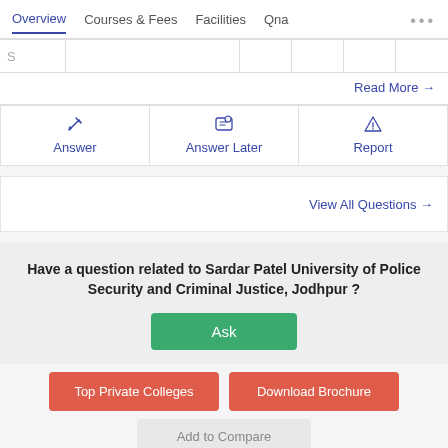Overview | Courses & Fees | Facilities | Qna
| S |  |  |  |  |  |  |
Read More →
Answer | Answer Later | Report
View All Questions →
Have a question related to Sardar Patel University of Police Security and Criminal Justice, Jodhpur ?
Ask
Top Private Colleges
Download Brochure
Add to Compare